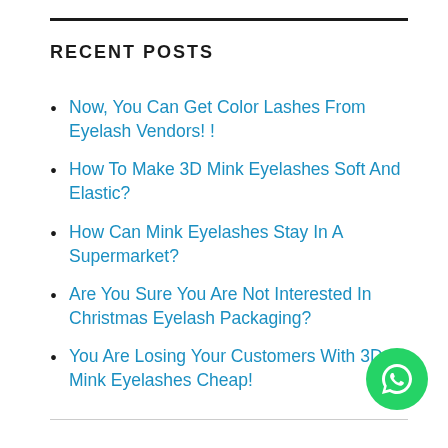RECENT POSTS
Now, You Can Get Color Lashes From Eyelash Vendors! !
How To Make 3D Mink Eyelashes Soft And Elastic?
How Can Mink Eyelashes Stay In A Supermarket?
Are You Sure You Are Not Interested In Christmas Eyelash Packaging?
You Are Losing Your Customers With 3D Mink Eyelashes Cheap!